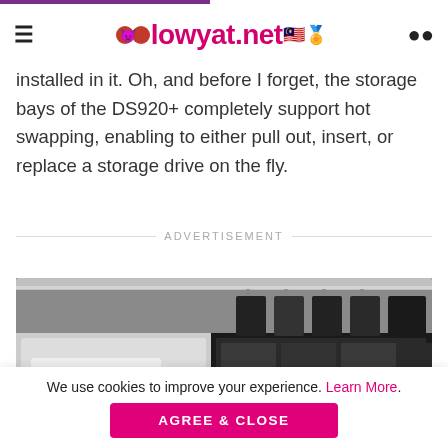lowyat.net
installed in it. Oh, and before I forget, the storage bays of the DS920+ completely support hot swapping, enabling to either pull out, insert, or replace a storage drive on the fly.
ADVERTISEMENT
[Figure (photo): Close-up photo of hard drives being inserted into a NAS enclosure, showing drive bays and a Toshiba hard drive label]
We use cookies to improve your experience. Learn More. AGREE & CLOSE